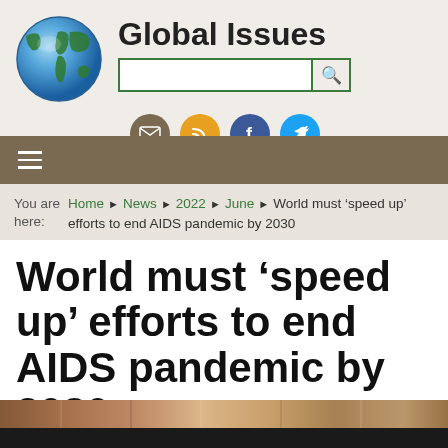[Figure (logo): Global Issues website header with globe logo, site title 'Global Issues', search bar, and social media icons for email, RSS, Facebook, and Twitter]
Global Issues
You are here: Home › News › 2022 › June › World must 'speed up' efforts to end AIDS pandemic by 2030
World must 'speed up' efforts to end AIDS pandemic by 2030